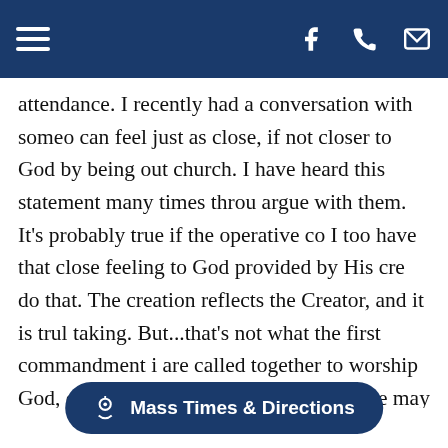Navigation header with hamburger menu, Facebook icon, phone icon, and email icon
attendance. I recently had a conversation with someone who can feel just as close, if not closer to God by being out of church. I have heard this statement many times through argue with them. It's probably true if the operative co I too have that close feeling to God provided by His cre do that. The creation reflects the Creator, and it is truly taking. But...that's not what the first commandment i are called together to worship God, our Creator. Wors feelings. (Yes, we may have inspirational feelings and h we may have bad feeling caused by something or som worship.) Worship is giving our God what is due. The g all enjoy is the creations worship of the creator. Our wo thank Him. Within th                                              oti into the fulness of who we are created to be. We also h
Mass Times & Directions